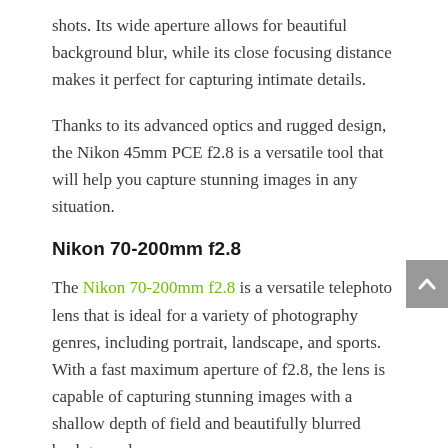shots. Its wide aperture allows for beautiful background blur, while its close focusing distance makes it perfect for capturing intimate details.
Thanks to its advanced optics and rugged design, the Nikon 45mm PCE f2.8 is a versatile tool that will help you capture stunning images in any situation.
Nikon 70-200mm f2.8
The Nikon 70-200mm f2.8 is a versatile telephoto lens that is ideal for a variety of photography genres, including portrait, landscape, and sports. With a fast maximum aperture of f2.8, the lens is capable of capturing stunning images with a shallow depth of field and beautifully blurred backgrounds.
The 70-200mm focal length also provides excellent versatility, allowing you to close-up details. In addition, the lens is constructed with high-quality optics and